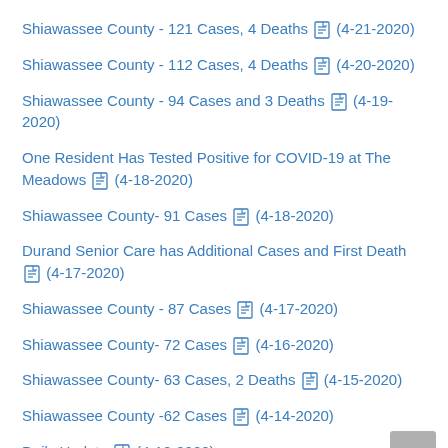Shiawassee County - 121 Cases, 4 Deaths (4-21-2020)
Shiawassee County - 112 Cases, 4 Deaths (4-20-2020)
Shiawassee County - 94 Cases and 3 Deaths (4-19-2020)
One Resident Has Tested Positive for COVID-19 at The Meadows (4-18-2020)
Shiawassee County- 91 Cases (4-18-2020)
Durand Senior Care has Additional Cases and First Death (4-17-2020)
Shiawassee County - 87 Cases (4-17-2020)
Shiawassee County- 72 Cases (4-16-2020)
Shiawassee County- 63 Cases, 2 Deaths (4-15-2020)
Shiawassee County -62 Cases (4-14-2020)
Daily Update (4-12-2020)